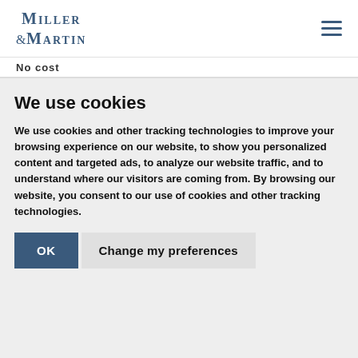Miller & Martin
No cost
We use cookies
We use cookies and other tracking technologies to improve your browsing experience on our website, to show you personalized content and targeted ads, to analyze our website traffic, and to understand where our visitors are coming from. By browsing our website, you consent to our use of cookies and other tracking technologies.
OK | Change my preferences